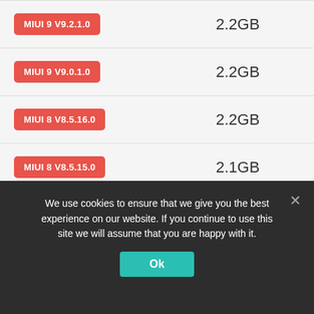| Version | Size |
| --- | --- |
| MIUI 9 V9.2.1.0 | 2.2GB |
| MIUI 9 V9.0.1.0 | 2.2GB |
| MIUI 8 V8.5.16.0 | 2.2GB |
| MIUI 8 V8.5.15.0 | 2.1GB |
| MIUI 8 V8.5.14.0 | 2.1GB |
We use cookies to ensure that we give you the best experience on our website. If you continue to use this site we will assume that you are happy with it.